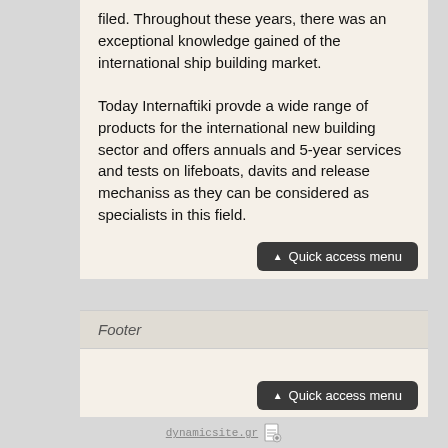filed. Throughout these years, there was an exceptional knowledge gained of the international ship building market.
Today Internaftiki provde a wide range of products for the international new building sector and offers annuals and 5-year services and tests on lifeboats, davits and release mechaniss as they can be considered as specialists in this field.
Footer